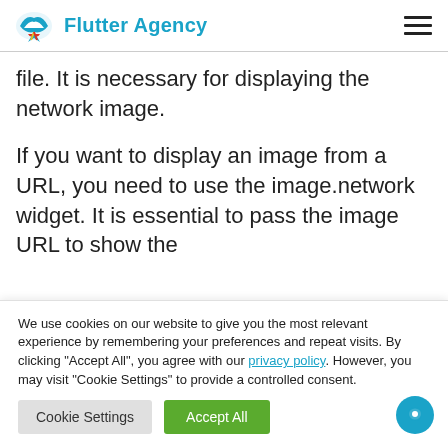Flutter Agency
file. It is necessary for displaying the network image.
If you want to display an image from a URL, you need to use the image.network widget. It is essential to pass the image URL to show the
We use cookies on our website to give you the most relevant experience by remembering your preferences and repeat visits. By clicking "Accept All", you agree with our privacy policy. However, you may visit "Cookie Settings" to provide a controlled consent.